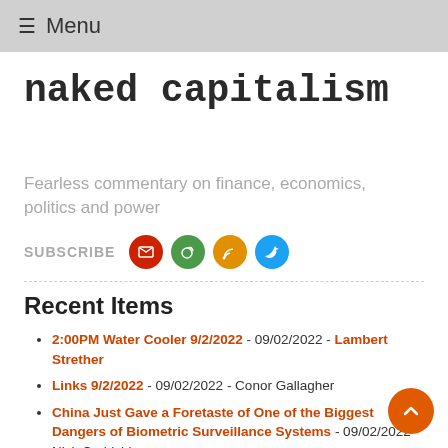≡ Menu
naked capitalism
Fearless commentary on finance, economics, politics and power
SUBSCRIBE
Recent Items
2:00PM Water Cooler 9/2/2022 - 09/02/2022 - Lambert Strether
Links 9/2/2022 - 09/02/2022 - Conor Gallagher
China Just Gave a Foretaste of One of the Biggest Dangers of Biometric Surveillance Systems - 09/02/2022 - Nick Corbishley